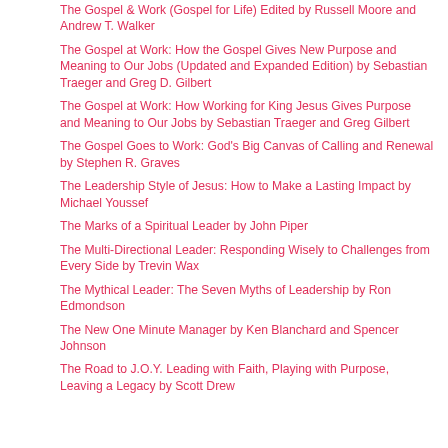The Gospel & Work (Gospel for Life) Edited by Russell Moore and Andrew T. Walker
The Gospel at Work: How the Gospel Gives New Purpose and Meaning to Our Jobs (Updated and Expanded Edition) by Sebastian Traeger and Greg D. Gilbert
The Gospel at Work: How Working for King Jesus Gives Purpose and Meaning to Our Jobs by Sebastian Traeger and Greg Gilbert
The Gospel Goes to Work: God's Big Canvas of Calling and Renewal by Stephen R. Graves
The Leadership Style of Jesus: How to Make a Lasting Impact by Michael Youssef
The Marks of a Spiritual Leader by John Piper
The Multi-Directional Leader: Responding Wisely to Challenges from Every Side by Trevin Wax
The Mythical Leader: The Seven Myths of Leadership by Ron Edmondson
The New One Minute Manager by Ken Blanchard and Spencer Johnson
The Road to J.O.Y. Leading with Faith, Playing with Purpose, Leaving a Legacy by Scott Drew